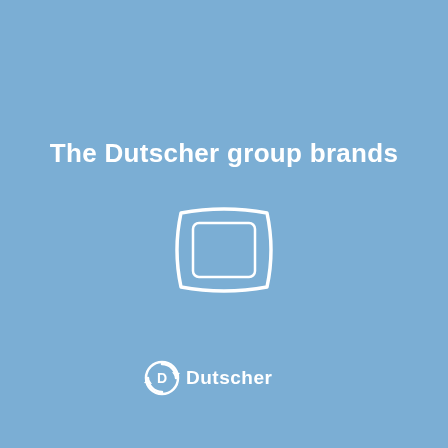The Dutscher group brands
[Figure (logo): Rounded rectangle outline icon, white stroke on blue background, representing a book or catalog]
[Figure (logo): Dutscher company logo: circular arrow icon with 'D' followed by 'Dutscher' text in white]